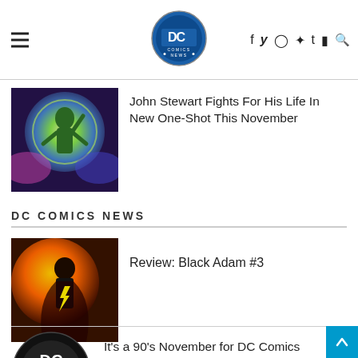DC Comics News — navigation header with hamburger menu, logo, social icons (f, twitter, instagram, pinterest, t, youtube, search)
[Figure (photo): Green Lantern John Stewart comic art — figure with glowing green light]
John Stewart Fights For His Life In New One-Shot This November
DC COMICS NEWS
[Figure (photo): Black Adam #3 comic cover — dark figure with glowing chest symbol on orange background]
Review: Black Adam #3
[Figure (logo): DC Comics circular logo badge]
It's a 90's November for DC Comics